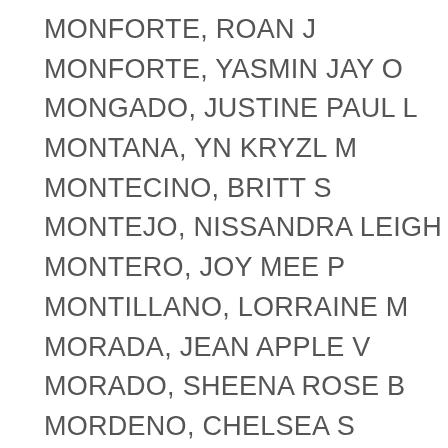MONFORTE, ROAN J
MONFORTE, YASMIN JAY O
MONGADO, JUSTINE PAUL L
MONTANA, YN KRYZL M
MONTECINO, BRITT S
MONTEJO, NISSANDRA LEIGH E
MONTERO, JOY MEE P
MONTILLANO, LORRAINE M
MORADA, JEAN APPLE V
MORADO, SHEENA ROSE B
MORDENO, CHELSEA S
MORILLO, JEZL C
MOSQUERA, JERRYPER L
MULAWAN, DIANA MARIE A
NAPALLA, CHERRYDIN F
NAPOLEREYES, MAVERICK DARYL W
NAPULL, SHEILA MAE A